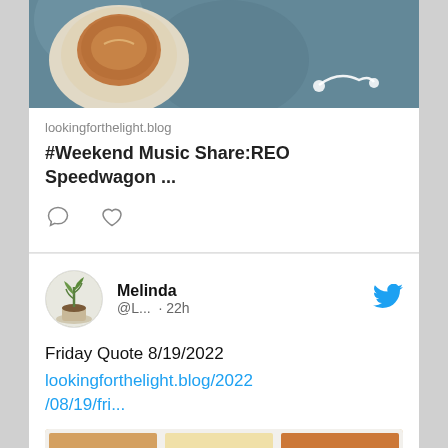[Figure (photo): Partial photo of coffee cup and earphones on dark background]
lookingforthelight.blog
#Weekend Music Share:REO Speedwagon ...
[Figure (illustration): Comment bubble icon and heart icon]
[Figure (photo): Profile avatar: plant in pot illustration]
Melinda
@L... · 22h
[Figure (logo): Twitter bird logo in blue]
Friday Quote 8/19/2022
lookingforthelight.blog/2022/08/19/fri...
[Figure (photo): Grid of sticky/post-it notes with Friday Quote text on center note]